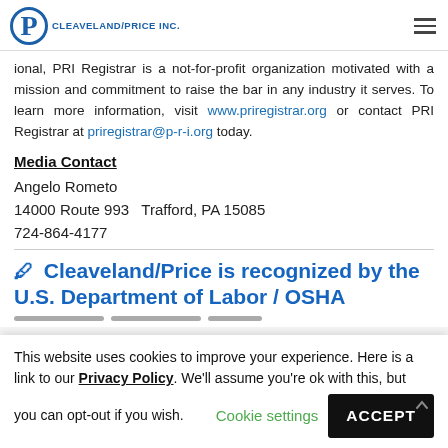Cleaveland/Price Inc. logo and navigation
ional, PRI Registrar is a not-for-profit organization motivated with a mission and commitment to raise the bar in any industry it serves. To learn more information, visit www.priregistrar.org or contact PRI Registrar at priregistrar@p-r-i.org today.
Media Contact
Angelo Rometo
14000 Route 993   Trafford, PA 15085
724-864-4177
✏ Cleaveland/Price is recognized by the U.S. Department of Labor / OSHA
This website uses cookies to improve your experience. Here is a link to our Privacy Policy. We'll assume you're ok with this, but you can opt-out if you wish. Cookie settings ACCEPT